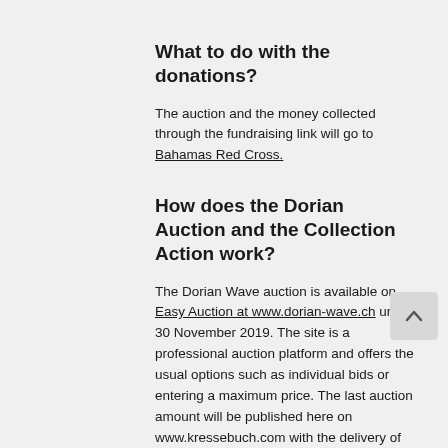What to do with the donations?
The auction and the money collected through the fundraising link will go to Bahamas Red Cross.
How does the Dorian Auction and the Collection Action work?
The Dorian Wave auction is available on Easy Auction at www.dorian-wave.ch until 30 November 2019. The site is a professional auction platform and offers the usual options such as individual bids or entering a maximum price. The last auction amount will be published here on www.kressebuch.com with the delivery of the painting.
The bid is excl. shipping, the painting can be shipped worldwide or collected on site. For questions about shipping costs or pick-up you can contact me quite simply by